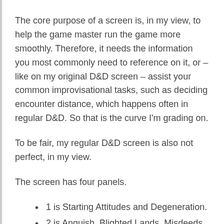The core purpose of a screen is, in my view, to help the game master run the game more smoothly. Therefore, it needs the information you most commonly need to reference on it, or – like on my original D&D screen – assist your common improvisational tasks, such as deciding encounter distance, which happens often in regular D&D. So that is the curve I'm grading on.
To be fair, my regular D&D screen is also not perfect, in my view.
The screen has four panels.
1 is Starting Attitudes and Degeneration.
2 is Anguish, Blighted Lands, Misdeeds, Tainted Treasure and Page References.